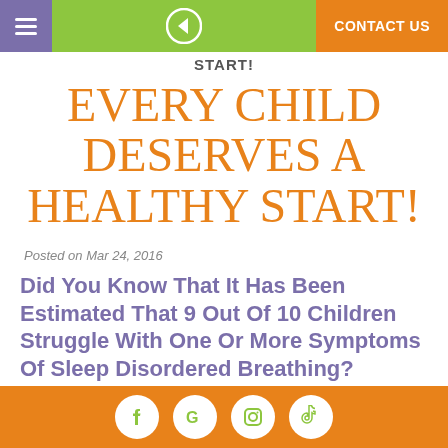START! | CONTACT US
START!
EVERY CHILD DESERVES A HEALTHY START!
Posted on Mar 24, 2016
Did You Know That It Has Been Estimated That 9 Out Of 10 Children Struggle With One Or More Symptoms Of Sleep Disordered Breathing?
Your Child Might Be At Risk!
Facebook | Google | Instagram | TikTok